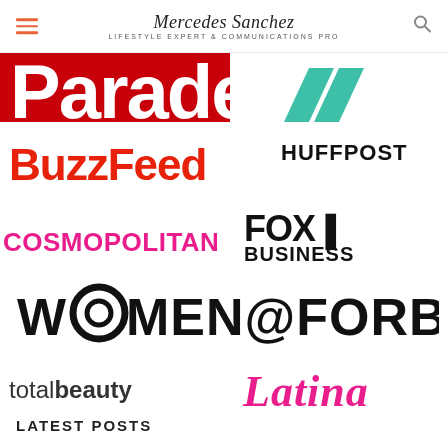Mercedes Sanchez — LIFESTYLE EXPERT & COMMUNICATIONS PRO
[Figure (logo): Parade magazine logo (red background, white text, partially cropped)]
[Figure (logo): HuffPost logo with teal double-slash icon and HUFFPOST text]
[Figure (logo): BuzzFeed logo in red bold font]
[Figure (logo): Cosmopolitan logo in pink bold uppercase]
[Figure (logo): Fox Business logo in black bold uppercase]
[Figure (logo): WOMEN@FORBES logo in black bold uppercase with stylized O]
[Figure (logo): totalbeauty logo in black mixed weight font]
[Figure (logo): Latina logo in pink italic serif font]
LATEST POSTS